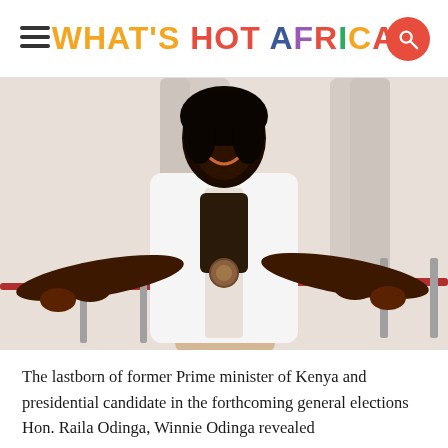WHAT'S HOT AFRICA
[Figure (photo): A woman in a white open shirt over a leopard print top and khaki trousers, wearing a round belt buckle, posing with both arms outstretched toward the camera, smiling, in an indoor setting with curtains and a red railing in the background.]
The lastborn of former Prime minister of Kenya and presidential candidate in the forthcoming general elections Hon. Raila Odinga, Winnie Odinga revealed